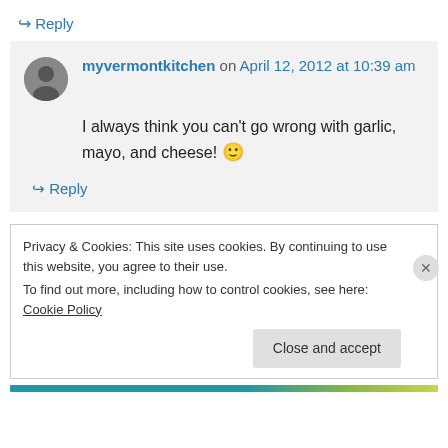↪ Reply
myvermontkitchen on April 12, 2012 at 10:39 am
I always think you can't go wrong with garlic, mayo, and cheese! 🙂
↪ Reply
Privacy & Cookies: This site uses cookies. By continuing to use this website, you agree to their use. To find out more, including how to control cookies, see here: Cookie Policy
Close and accept